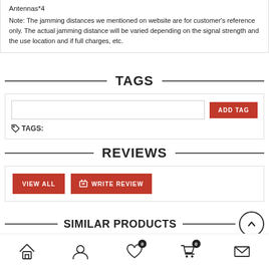Antennas*4
Note: The jamming distances we mentioned on website are for customer's reference only. The actual jamming distance will be varied depending on the signal strength and the use location and if full charges, etc.
TAGS
TAGS:
REVIEWS
VIEW ALL   WRITE REVIEW
SIMILAR PRODUCTS
[Figure (other): Bottom navigation icons: home, user, wishlist (0), cart (0), mail]